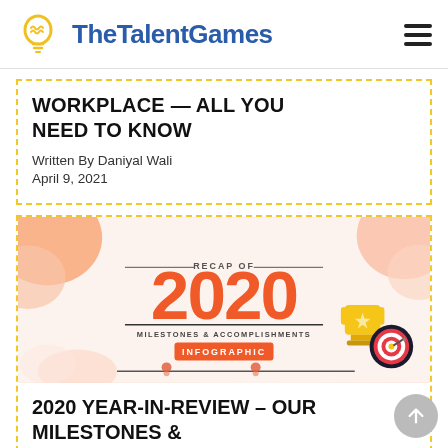TheTalentGames
WORKPLACE — ALL YOU NEED TO KNOW
Written By Daniyal Wali
April 9, 2021
[Figure (infographic): Recap of 2020 Milestones & Accomplishments infographic banner with orange decorative shapes, trophy, dartboard, and INFOGRAPHIC label]
2020 YEAR-IN-REVIEW – OUR MILESTONES & ACCOMPLISHMENTS